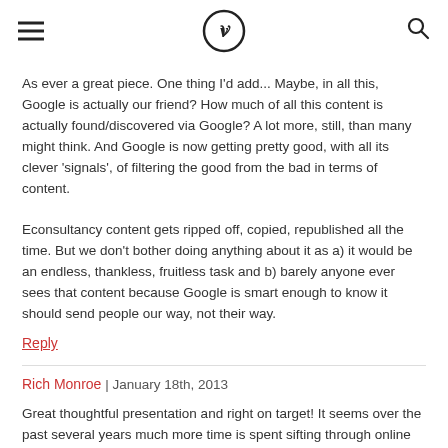[hamburger menu] [Econsultancy logo] [search icon]
As ever a great piece. One thing I'd add... Maybe, in all this, Google is actually our friend? How much of all this content is actually found/discovered via Google? A lot more, still, than many might think. And Google is now getting pretty good, with all its clever 'signals', of filtering the good from the bad in terms of content.

Econsultancy content gets ripped off, copied, republished all the time. But we don't bother doing anything about it as a) it would be an endless, thankless, fruitless task and b) barely anyone ever sees that content because Google is smart enough to know it should send people our way, not their way.
Reply
Rich Monroe | January 18th, 2013
Great thoughtful presentation and right on target! It seems over the past several years much more time is spent sifting through online content, separating the wheat from the chaff (or as you say CRAP). Thank you!